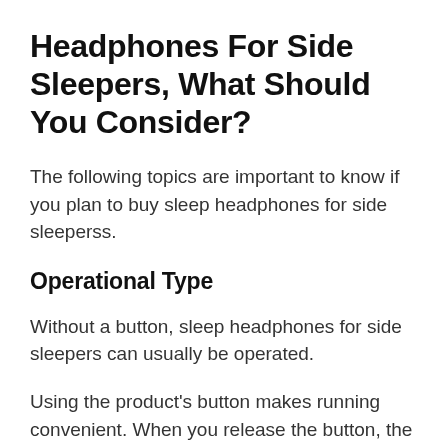Headphones For Side Sleepers, What Should You Consider?
The following topics are important to know if you plan to buy sleep headphones for side sleeperss.
Operational Type
Without a button, sleep headphones for side sleepers can usually be operated.
Using the product's button makes running convenient. When you release the button, the process will end. Depending on how often it